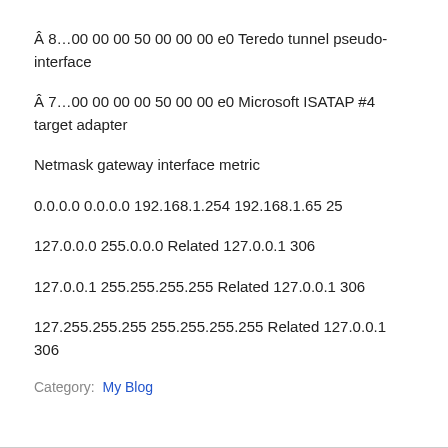Â 8…00 00 00 50 00 00 00 e0 Teredo tunnel pseudo-interface
Â 7…00 00 00 00 50 00 00 e0 Microsoft ISATAP #4 target adapter
Netmask gateway interface metric
0.0.0.0 0.0.0.0 192.168.1.254 192.168.1.65 25
127.0.0.0 255.0.0.0 Related 127.0.0.1 306
127.0.0.1 255.255.255.255 Related 127.0.0.1 306
127.255.255.255 255.255.255.255 Related 127.0.0.1 306
Category:  My Blog